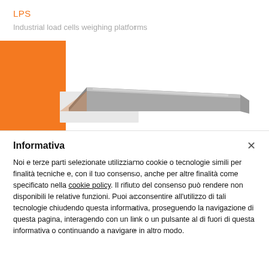LPS
Industrial load cells weighing platforms
[Figure (photo): Product photo of an industrial weighing platform (load cell platform) shown at an angle, with an orange rectangular graphic block overlapping on the left side.]
Informativa
Noi e terze parti selezionate utilizziamo cookie o tecnologie simili per finalità tecniche e, con il tuo consenso, anche per altre finalità come specificato nella cookie policy. Il rifiuto del consenso può rendere non disponibili le relative funzioni. Puoi acconsentire all'utilizzo di tali tecnologie chiudendo questa informativa, proseguendo la navigazione di questa pagina, interagendo con un link o un pulsante al di fuori di questa informativa o continuando a navigare in altro modo.